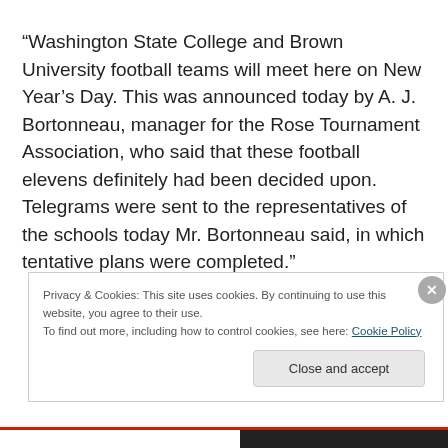“Washington State College and Brown University football teams will meet here on New Year’s Day. This was announced today by A. J. Bortonneau, manager for the Rose Tournament Association, who said that these football elevens definitely had been decided upon. Telegrams were sent to the representatives of the schools today Mr. Bortonneau said, in which tentative plans were completed.”
Privacy & Cookies: This site uses cookies. By continuing to use this website, you agree to their use. To find out more, including how to control cookies, see here: Cookie Policy
Close and accept